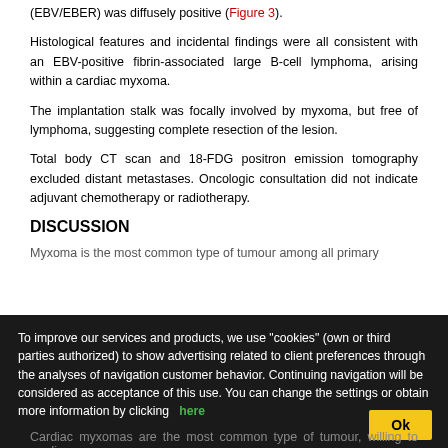(EBV/EBER) was diffusely positive (Figure 3).
Histological features and incidental findings were all consistent with an EBV-positive fibrin-associated large B-cell lymphoma, arising within a cardiac myxoma.
The implantation stalk was focally involved by myxoma, but free of lymphoma, suggesting complete resection of the lesion.
Total body CT scan and 18-FDG positron emission tomography excluded distant metastases. Oncologic consultation did not indicate adjuvant chemotherapy or radiotherapy.
DISCUSSION
Myxoma is the most common type of tumour among all primary
To improve our services and products, we use "cookies" (own or third parties authorized) to show advertising related to client preferences through the analyses of navigation customer behavior. Continuing navigation will be considered as acceptance of this use. You can change the settings or obtain more information by clicking here